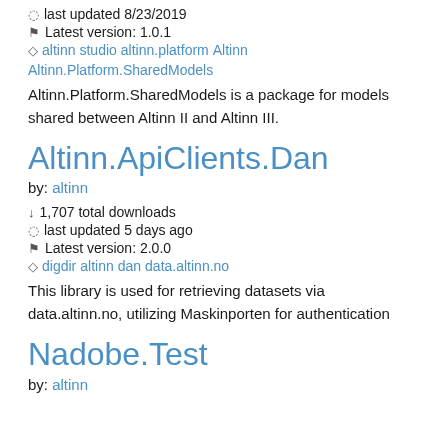last updated 8/23/2019
Latest version: 1.0.1
altinn studio altinn.platform Altinn Altinn.Platform.SharedModels
Altinn.Platform.SharedModels is a package for models shared between Altinn II and Altinn III.
Altinn.ApiClients.Dan
by: altinn
1,707 total downloads
last updated 5 days ago
Latest version: 2.0.0
digdir altinn dan data.altinn.no
This library is used for retrieving datasets via data.altinn.no, utilizing Maskinporten for authentication
Nadobe.Test
by: altinn